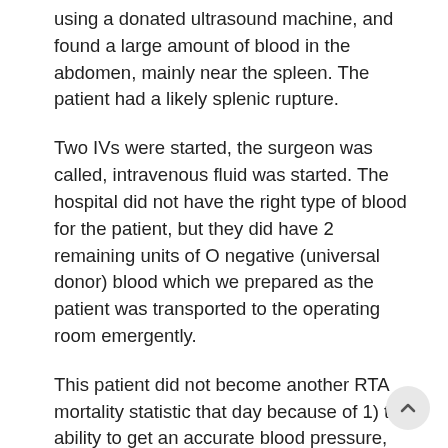using a donated ultrasound machine, and found a large amount of blood in the abdomen, mainly near the spleen. The patient had a likely splenic rupture.
Two IVs were started, the surgeon was called, intravenous fluid was started. The hospital did not have the right type of blood for the patient, but they did have 2 remaining units of O negative (universal donor) blood which we prepared as the patient was transported to the operating room emergently.
This patient did not become another RTA mortality statistic that day because of 1) the ability to get an accurate blood pressure, which then led to 2) rapid and effective treatment of a critically ill patient. These things would have never been possible without the tools provided by MDF Instruments and the training in emergency care provided by GECC.
Editor's note: GECC is profoundly grateful to MDF Instruments for donating stethoscopes and blood pressure cuffs to the Emergency Care Practitioners and trainees at Nyakibale